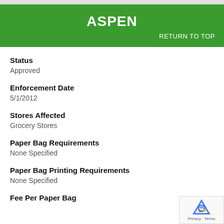ASPEN
RETURN TO TOP
Status
Approved
Enforcement Date
5/1/2012
Stores Affected
Grocery Stores
Paper Bag Requirements
None Specified
Paper Bag Printing Requirements
None Specified
Fee Per Paper Bag